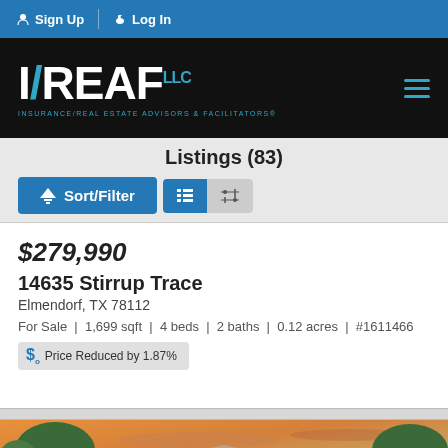Sign Up | Log In
[Figure (logo): IREAF LLC logo - Insurance/Real Estate Advisors & Facilitators, white text on black background with teal accents]
Listings (83)
Sort/Filter | List view | Map view buttons
$279,990
14635 Stirrup Trace
Elmendorf, TX 78112
For Sale | 1,699 sqft | 4 beds | 2 baths | 0.12 acres | #1611466
Price Reduced by 1.87%
[Figure (photo): Partial view of a house exterior with trees against a colorful sunset sky]